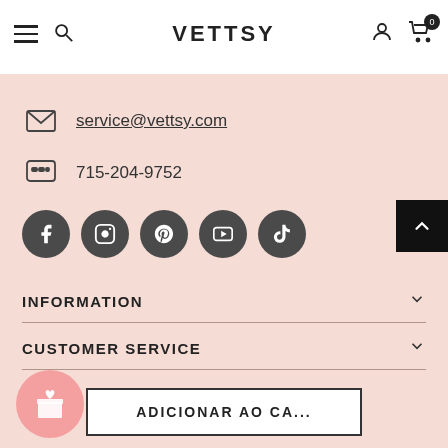VETTSY
service@vettsy.com
715-204-9752
[Figure (other): Social media icon buttons: Facebook, Instagram, Pinterest, YouTube, TikTok]
INFORMATION
CUSTOMER SERVICE
DISCOVER
ADICIONAR AO CA...